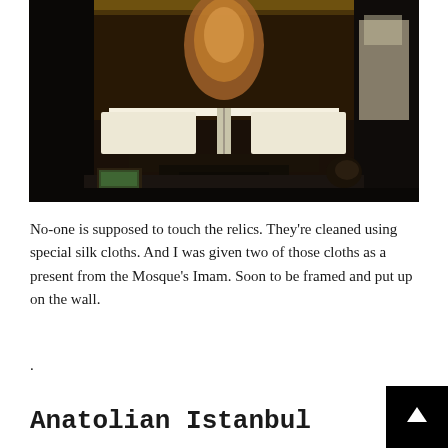[Figure (photo): A dark interior museum/mosque scene showing a large open manuscript or sacred text displayed on a stand/lectern, with ornate decorative background elements including metalwork and embroidered textiles. The scene is dimly lit with high contrast between the pale pages of the manuscript and the dark surroundings.]
No-one is supposed to touch the relics. They're cleaned using special silk cloths. And I was given two of those cloths as a present from the Mosque's Imam. Soon to be framed and put up on the wall.
.
Anatolian Istanbul